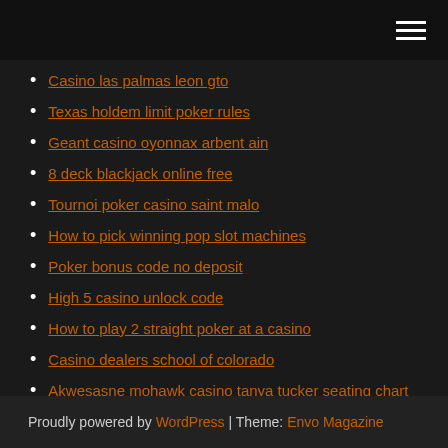Navigation menu (hamburger icon)
Casino las palmas leon gto
Texas holdem limit poker rules
Geant casino oyonnax arbent ain
8 deck blackjack online free
Tournoi poker casino saint malo
How to pick winning pop slot machines
Poker bonus code no deposit
High 5 casino unlock code
How to play 2 straight poker at a casino
Casino dealers school of colorado
Akwesasne mohawk casino tanya tucker seating chart
Proudly powered by WordPress | Theme: Envo Magazine